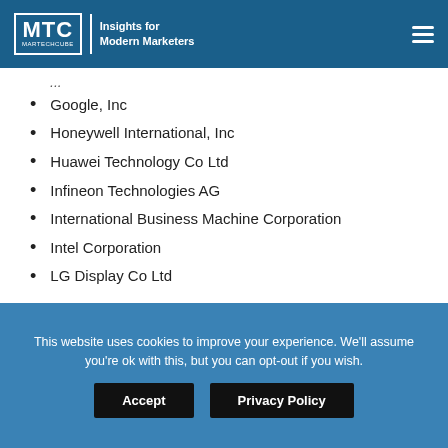MTC MARTECHCUBE | Insights for Modern Marketers
Google, Inc
Honeywell International, Inc
Huawei Technology Co Ltd
Infineon Technologies AG
International Business Machine Corporation
Intel Corporation
LG Display Co Ltd
This website uses cookies to improve your experience. We'll assume you're ok with this, but you can opt-out if you wish.